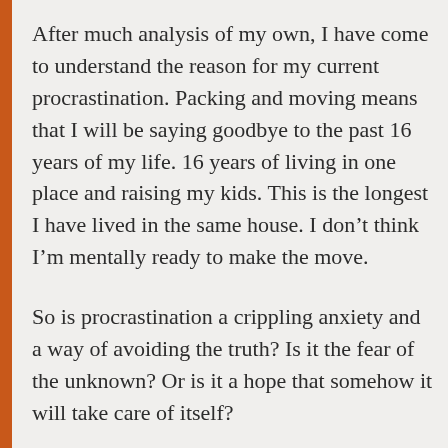After much analysis of my own, I have come to understand the reason for my current procrastination. Packing and moving means that I will be saying goodbye to the past 16 years of my life. 16 years of living in one place and raising my kids. This is the longest I have lived in the same house. I don’t think I’m mentally ready to make the move.
So is procrastination a crippling anxiety and a way of avoiding the truth? Is it the fear of the unknown? Or is it a hope that somehow it will take care of itself?
As Norma wrote in her blog on Saturday we will move forward after a life-changing event, but to